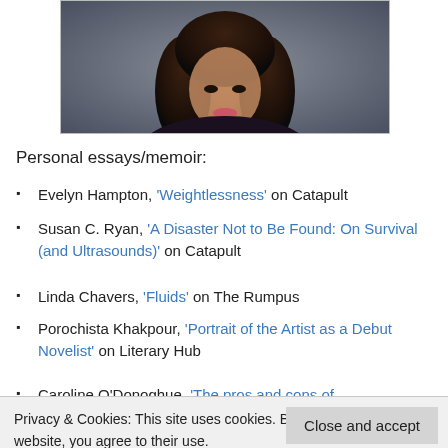[Figure (photo): Cropped portrait photo of a woman with long dark hair, wearing a dark floral top, against a grey background. Only the upper torso and face are visible.]
Personal essays/memoir:
Evelyn Hampton, 'Weightlessness' on Catapult
Susan C. Ryan, 'A Disaster Not to Be Found: On Survival (and Ultrasounds)' on Catapult
Linda Chavers, 'Fluids' on The Rumpus
Porochista Khakpour, 'Portrait of the Artist as a Debut Novelist' on Literary Hub
Caroline O'Donoghue, 'The pros and cons of [cut off]
Privacy & Cookies: This site uses cookies. By continuing to use this website, you agree to their use.
To find out more, including how to control cookies, see here: Cookie Policy
Close and accept
Zara Rahman, 'Glass Calls' on Book Life